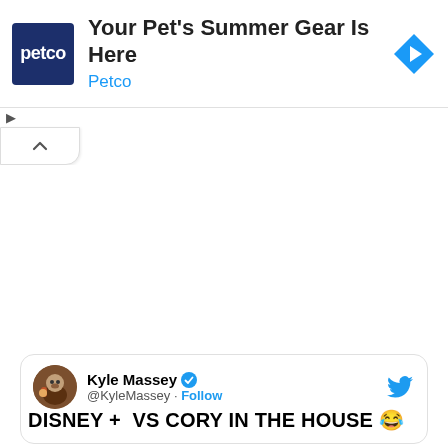[Figure (screenshot): Petco advertisement banner with dark blue logo showing 'petco' text, headline 'Your Pet's Summer Gear Is Here', brand name 'Petco' in blue, and a blue diamond navigation icon on the right]
[Figure (screenshot): UI collapse/chevron button at bottom left of ad area]
[Figure (screenshot): Tweet card from Kyle Massey (@KyleMassey) with verified badge and Follow button, showing text 'DISNEY + VS CORY IN THE HOUSE' with laughing emoji]
DISNEY +  VS CORY IN THE HOUSE 😂